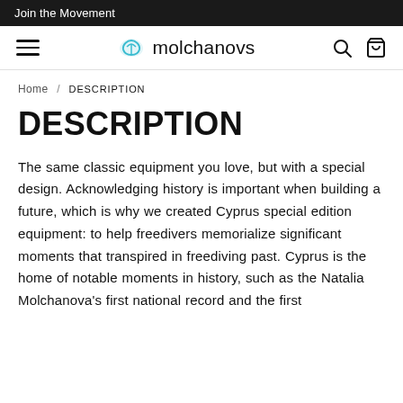Join the Movement
[Figure (logo): Molchanovs brand logo with teal wing/leaf icon and text 'molchanovs', plus hamburger menu, search, and cart icons]
Home / DESCRIPTION
DESCRIPTION
The same classic equipment you love, but with a special design. Acknowledging history is important when building a future, which is why we created Cyprus special edition equipment: to help freedivers memorialize significant moments that transpired in freediving past. Cyprus is the home of notable moments in history, such as the Natalia Molchanova's first national record and the first